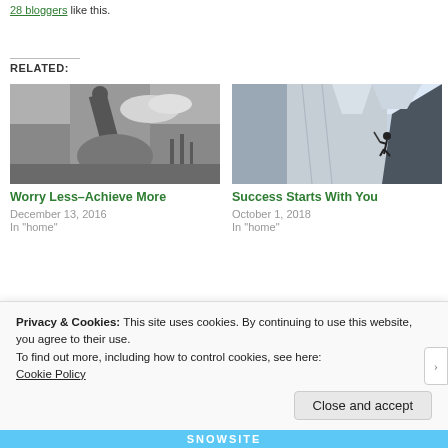28 bloggers like this.
RELATED:
[Figure (photo): Black and white photo of a wooden sculpture of a figure pushing a large rock]
Worry Less–Achieve More
December 13, 2016
In "home"
[Figure (photo): Photo of a climber on a steep rocky cliff face with mountains in background]
Success Starts With You
October 1, 2018
In "home"
[Figure (photo): Partially visible image showing text 'What' with a dark silhouette]
Privacy & Cookies: This site uses cookies. By continuing to use this website, you agree to their use.
To find out more, including how to control cookies, see here:
Cookie Policy
Close and accept